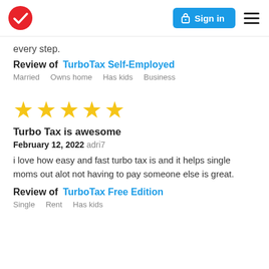TurboTax logo | Sign in | Menu
every step.
Review of  TurboTax Self-Employed
Married  Owns home  Has kids  Business
[Figure (other): Five gold star rating]
Turbo Tax is awesome
February 12, 2022 adri7
i love how easy and fast turbo tax is and it helps single moms out alot not having to pay someone else is great.
Review of  TurboTax Free Edition
Single  Rent  Has kids